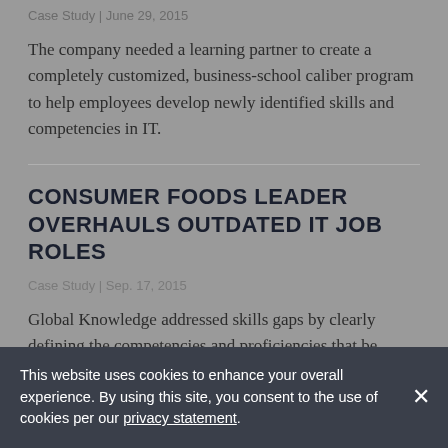Case Study | June 29, 2015
The company needed a learning partner to create a completely customized, business-school caliber program to help employees develop newly identified skills and competencies in IT.
CONSUMER FOODS LEADER OVERHAULS OUTDATED IT JOB ROLES
Case Study | Sep. 17, 2015
Global Knowledge addressed skills gaps by clearly defining the competencies and proficiencies that...
This website uses cookies to enhance your overall experience. By using this site, you consent to the use of cookies per our privacy statement.